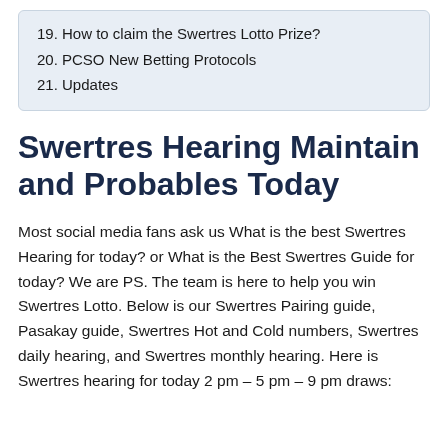19. How to claim the Swertres Lotto Prize?
20. PCSO New Betting Protocols
21. Updates
Swertres Hearing Maintain and Probables Today
Most social media fans ask us What is the best Swertres Hearing for today? or What is the Best Swertres Guide for today? We are PS. The team is here to help you win Swertres Lotto. Below is our Swertres Pairing guide, Pasakay guide, Swertres Hot and Cold numbers, Swertres daily hearing, and Swertres monthly hearing. Here is Swertres hearing for today 2 pm – 5 pm – 9 pm draws: